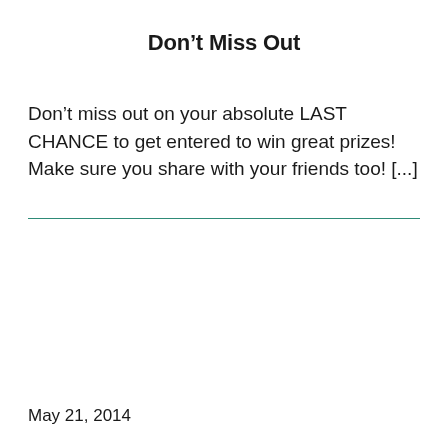Don't Miss Out
Don't miss out on your absolute LAST CHANCE to get entered to win great prizes!  Make sure you share with your friends too! [...]
May 21, 2014